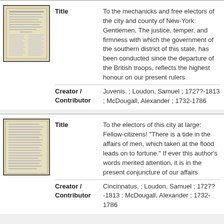[Figure (photo): Thumbnail image of a historical broadside document, showing dense text columns on aged paper]
| Field | Value |
| --- | --- |
| Title | To the mechanicks and free electors of the city and county of New-York: Gentlemen, The justice, temper, and firmness with which the government of the southern district of this state, has been conducted since the departure of the British troops, reflects the highest honour on our present rulers |
| Creator / Contributor | Juvenis. ; Loudon, Samuel ; 1727?-1813 ; McDougall, Alexander ; 1732-1786 |
[Figure (photo): Thumbnail image of a second historical broadside document with handwritten or printed text on aged paper]
| Field | Value |
| --- | --- |
| Title | To the electors of this city at large: Fellow-citizens! "There is a tide in the affairs of men, which taken at the flood leads on to fortune." If ever this author's words merited attention, it is in the present conjuncture of our affairs |
| Creator / Contributor | Cincinnatus. ; Loudon, Samuel ; 1727?-1813 ; McDougall, Alexander ; 1732-1786 |